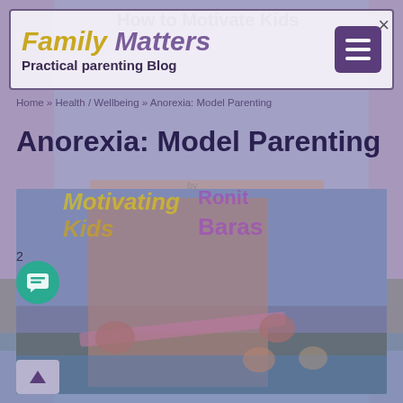Family Matters | How to Motivate Kids
Practical parenting Blog
Home » Health / Wellbeing » Anorexia: Model Parenting
Anorexia: Model Parenting
[Figure (photo): Overlapping composite image: a book cover for 'Motivating Kids by Ronit Baras' (featuring butterflies and sky) blended with a close-up photo of a person measuring their midriff with a pink tape measure, and background image of children playing in water.]
2